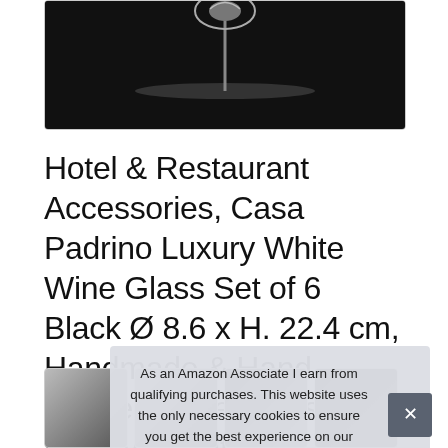[Figure (photo): Black and white photo of a wine glass with decorative figurine on top, cropped at the bottom of the image area]
Hotel & Restaurant Accessories, Casa Padrino Luxury White Wine Glass Set of 6 Black Ø 8.6 x H. 22.4 cm, Handmade & Hand Painted Wine Glasses, Luxury Quality
[Figure (photo): Row of four product thumbnail images showing wine glasses in black and white photography]
As an Amazon Associate I earn from qualifying purchases. This website uses the only necessary cookies to ensure you get the best experience on our website. More information